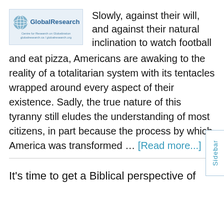[Figure (logo): GlobalResearch logo with globe icon, text 'GlobalResearch Centre for Research on Globalization', URLs: globalresearch.ca / globalresearch.org]
Slowly, against their will, and against their natural inclination to watch football and eat pizza, Americans are awaking to the reality of a totalitarian system with its tentacles wrapped around every aspect of their existence. Sadly, the true nature of this tyranny still eludes the understanding of most citizens, in part because the process by which America was transformed … [Read more...]
It's time to get a Biblical perspective of